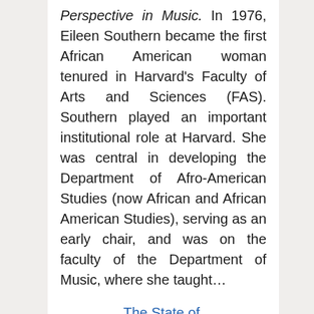Perspective in Music. In 1976, Eileen Southern became the first African American woman tenured in Harvard's Faculty of Arts and Sciences (FAS). Southern played an important institutional role at Harvard. She was central in developing the Department of Afro-American Studies (now African and African American Studies), serving as an early chair, and was on the faculty of the Department of Music, where she taught...
The State of Democracy in Latin America